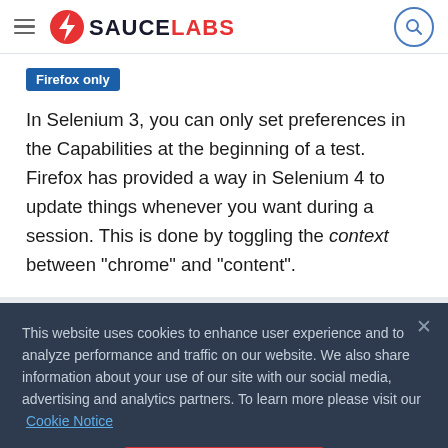SAUCE LABS
Firefox only
In Selenium 3, you can only set preferences in the Capabilities at the beginning of a test. Firefox has provided a way in Selenium 4 to update things whenever you want during a session. This is done by toggling the context between "chrome" and "content".
This website uses cookies to enhance user experience and to analyze performance and traffic on our website. We also share information about your use of our site with our social media, advertising and analytics partners. To learn more please visit our Cookie Notice
OK